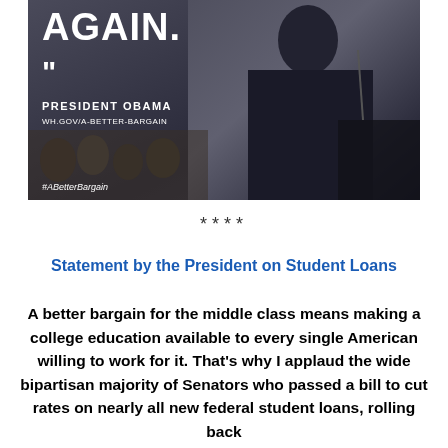[Figure (photo): Photo of President Obama speaking at a podium with audience in background. White text overlay reads 'AGAIN.' with closing quotation marks, 'PRESIDENT OBAMA', 'WH.GOV/A-BETTER-BARGAIN', and '#ABetterBargain' in italic at bottom left.]
****
Statement by the President on Student Loans
A better bargain for the middle class means making a college education available to every single American willing to work for it.  That's why I applaud the wide bipartisan majority of Senators who passed a bill to cut rates on nearly all new federal student loans, rolling back